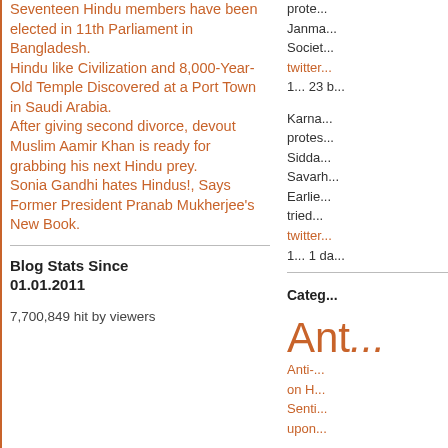Seventeen Hindu members have been elected in 11th Parliament in Bangladesh.
Hindu like Civilization and 8,000-Year-Old Temple Discovered at a Port Town in Saudi Arabia.
After giving second divorce, devout Muslim Aamir Khan is ready for grabbing his next Hindu prey.
Sonia Gandhi hates Hindus!, Says Former President Pranab Mukherjee's New Book.
Blog Stats Since 01.01.2011
7,700,849 hit by viewers
prote... Janma... Societ... twitter... 1... 23 b...
Karna... protes... Sidda... Savarh... Earlie... tried... twitter... 1... 1 da...
Categories
Ant...
Anti-... on H... Senti... upon...